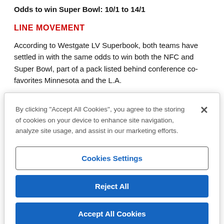Odds to win Super Bowl: 10/1 to 14/1
LINE MOVEMENT
According to Westgate LV Superbook, both teams have settled in with the same odds to win both the NFC and Super Bowl, part of a pack listed behind conference co-favorites Minnesota and the L.A.
By clicking “Accept All Cookies”, you agree to the storing of cookies on your device to enhance site navigation, analyze site usage, and assist in our marketing efforts.
Cookies Settings
Reject All
Accept All Cookies